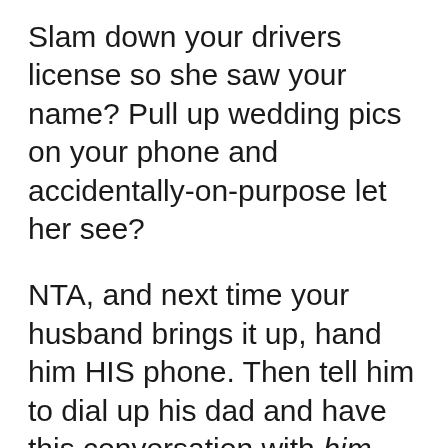Slam down your drivers license so she saw your name? Pull up wedding pics on your phone and accidentally-on-purpose let her see?
NTA, and next time your husband brings it up, hand him HIS phone. Then tell him to dial up his dad and have this conversation with him, because he's talking to the